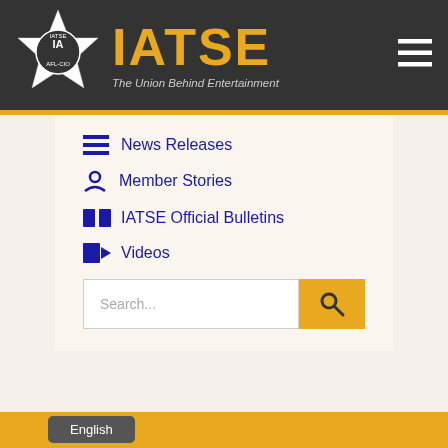[Figure (logo): IATSE union logo - white star badge with IA letters in center on dark background]
IATSE
The Union Behind Entertainment
News Releases
Member Stories
IATSE Official Bulletins
Videos
Search...
English